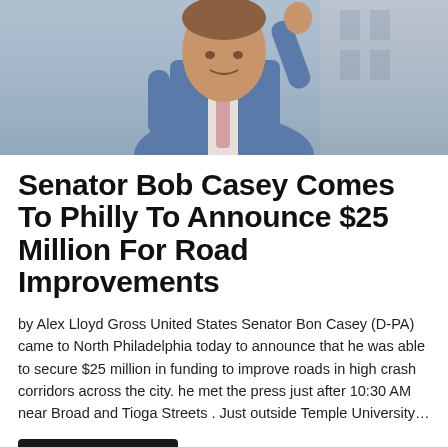[Figure (photo): A man in a blue suit raising his hand, photographed outdoors near a building. This is Senator Bob Casey.]
Senator Bob Casey Comes To Philly To Announce $25 Million For Road Improvements
by Alex Lloyd Gross United States Senator Bon Casey (D-PA) came to North Philadelphia today to announce that he was able to secure $25 million in funding to improve roads in high crash corridors across the city. he met the press just after 10:30 AM near Broad and Tioga Streets . Just outside Temple University…
Read More